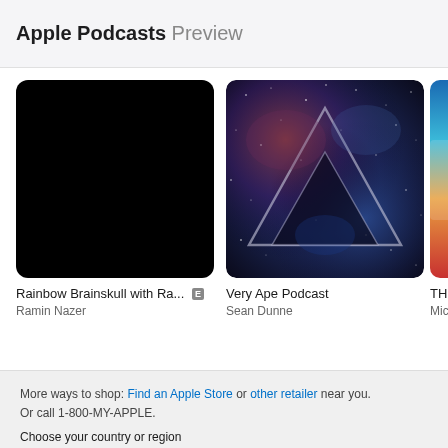Apple Podcasts Preview
[Figure (screenshot): Black square podcast artwork for Rainbow Brainskull with Ra...]
Rainbow Brainskull with Ra... [E]
Ramin Nazer
[Figure (photo): Galaxy/nebula artwork with dark triangular geometric shapes for Very Ape Podcast]
Very Ape Podcast
Sean Dunne
[Figure (photo): Partial colorful podcast artwork on the right edge, partially cropped]
TH...
Mic...
More ways to shop: Find an Apple Store or other retailer near you. Or call 1-800-MY-APPLE. Choose your country or region Copyright © 2022 Apple Inc. All rights reserved. Privacy Policy | Terms of Use | Sales and Refunds | Legal | Site Map